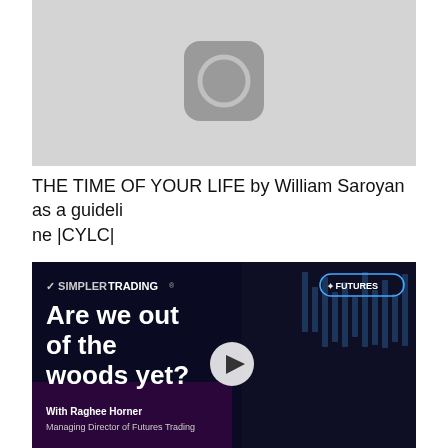[Figure (screenshot): Gray placeholder image with a rounded square icon containing a circular ring, resembling a video thumbnail placeholder]
THE TIME OF YOUR LIFE by William Saroyan as a guideline |CYLC|
[Figure (screenshot): Simpler Trading promotional video thumbnail. Dark blue background with stock chart graphics. Text reads: SIMPLERTRADING FUTURES, Are we out of the woods yet? With Raghee Horner, Managing Director of Futures Trading. Woman with glasses smiling, play button overlay.]